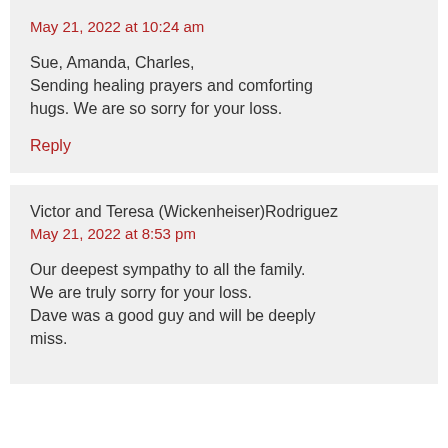May 21, 2022 at 10:24 am
Sue, Amanda, Charles,
Sending healing prayers and comforting hugs. We are so sorry for your loss.
Reply
Victor and Teresa (Wickenheiser)Rodriguez
May 21, 2022 at 8:53 pm
Our deepest sympathy to all the family.
We are truly sorry for your loss.
Dave was a good guy and will be deeply miss.